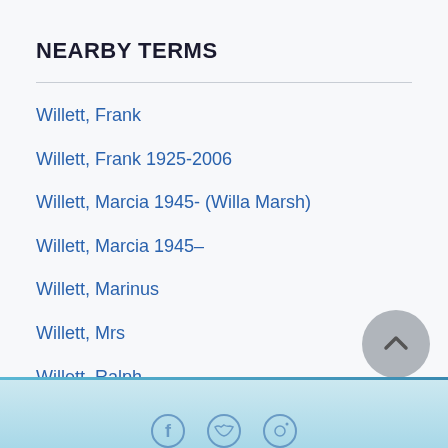NEARBY TERMS
Willett, Frank
Willett, Frank 1925-2006
Willett, Marcia 1945- (Willa Marsh)
Willett, Marcia 1945–
Willett, Marinus
Willett, Mrs
Willett, Ralph
Willey, Bee